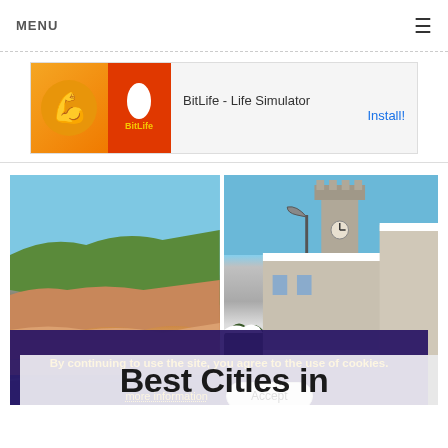MENU
[Figure (screenshot): Ad banner for BitLife - Life Simulator with orange/red illustrated image on left and text on right with Install! link]
BitLife - Life Simulator
[Figure (photo): Two-photo collage: left shows coastal cliffs and beach with blue water, right shows a snow-covered English town street with a church tower]
By continuing to use the site, you agree to the use of cookies.
more information
Accept
Best Cities in